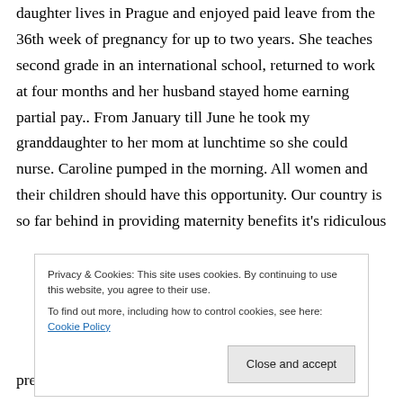daughter lives in Prague and enjoyed paid leave from the 36th week of pregnancy for up to two years. She teaches second grade in an international school, returned to work at four months and her husband stayed home earning partial pay.. From January till June he took my granddaughter to her mom at lunchtime so she could nurse. Caroline pumped in the morning. All women and their children should have this opportunity. Our country is so far behind in providing maternity benefits it's ridiculous
Privacy & Cookies: This site uses cookies. By continuing to use this website, you agree to their use.
To find out more, including how to control cookies, see here: Cookie Policy
pretty sure he never asked a male physician that